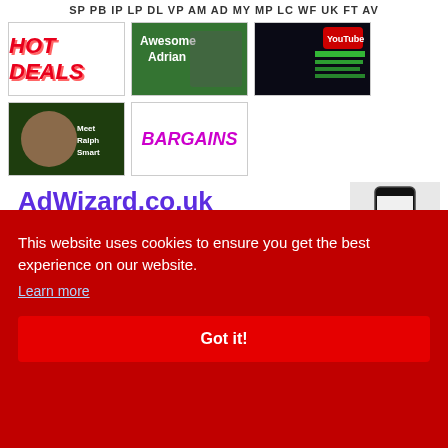SP PB IP LP DL VP AM AD MY MP LC WF UK FT AV
[Figure (screenshot): HOT DEALS thumbnail with red italic text on white background]
[Figure (screenshot): Awesome Adrian YouTube thumbnail showing man in green jacket with text 'Awesome Adrian']
[Figure (screenshot): YouTube video thumbnail showing two people with dark background and YouTube logo]
[Figure (screenshot): Meet Ralph Smart YouTube thumbnail showing man outdoors]
[Figure (screenshot): BARGAINS thumbnail with colorful text on white background]
[Figure (logo): AdWizard.co.uk logo in purple bold font]
[Figure (photo): Hand holding a smartphone]
This website uses cookies to ensure you get the best experience on our website.
Learn more
Got it!
digitalneanets.com